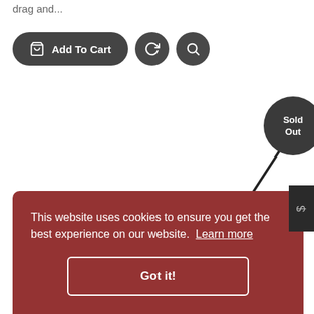drag and...
[Figure (screenshot): E-commerce UI showing Add To Cart button (dark pill shape with cart icon), two dark circular icon buttons (refresh/sync and search), a diagonal line with a dark circle badge labeled 'Sold Out', and a portion of a product image at the bottom right.]
This website uses cookies to ensure you get the best experience on our website. Learn more
Got it!